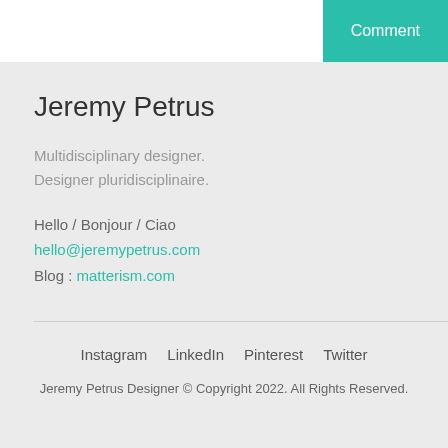Comment
Jeremy Petrus
Multidisciplinary designer.
Designer pluridisciplinaire.
Hello / Bonjour / Ciao
hello@jeremypetrus.com
Blog : matterism.com
Instagram  LinkedIn  Pinterest  Twitter
Jeremy Petrus Designer © Copyright 2022. All Rights Reserved.